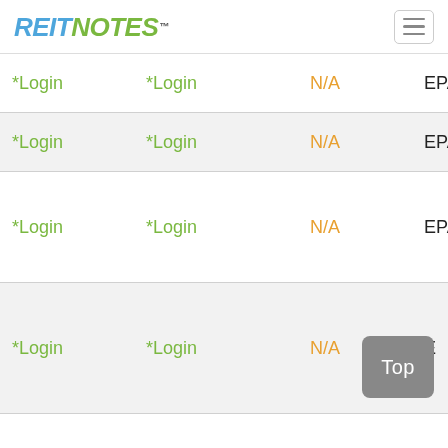REITNOTES™
| Col1 | Col2 | Col3 | Col4 |
| --- | --- | --- | --- |
| *Login | *Login | N/A | EPA |
| *Login | *Login | N/A | EPA |
| *Login | *Login | N/A | EPA |
| *Login | *Login | N/A | E |